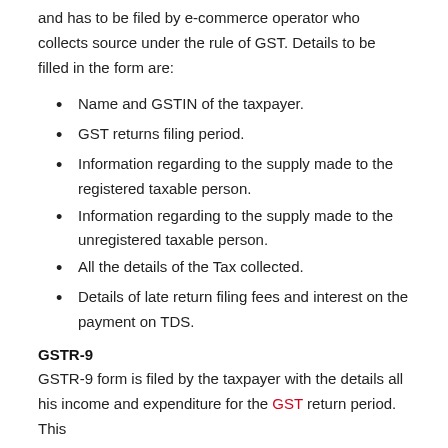and has to be filed by e-commerce operator who collects source under the rule of GST. Details to be filled in the form are:
Name and GSTIN of the taxpayer.
GST returns filing period.
Information regarding to the supply made to the registered taxable person.
Information regarding to the supply made to the unregistered taxable person.
All the details of the Tax collected.
Details of late return filing fees and interest on the payment on TDS.
GSTR-9
GSTR-9 form is filed by the taxpayer with the details all his income and expenditure for the GST return period. This